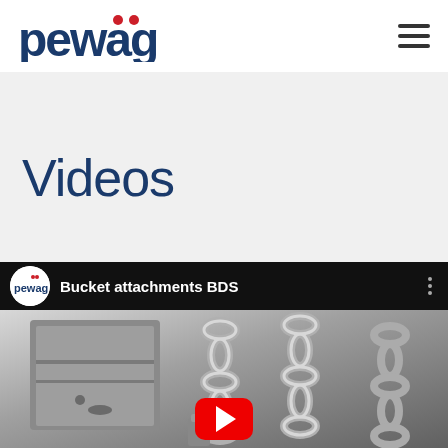pewag — Videos page header with logo and hamburger menu
Videos
[Figure (screenshot): YouTube embedded video player showing 'Bucket attachments BDS' by pewag channel. The video thumbnail shows a metal bucket attachment with heavy chains. A red YouTube play button is visible at the bottom center of the thumbnail.]